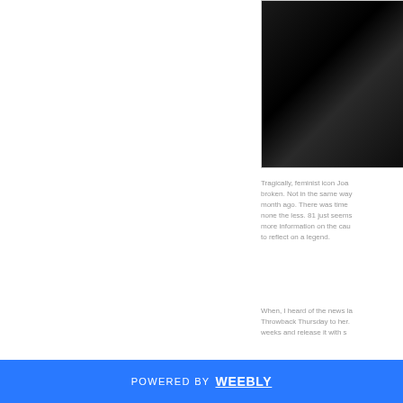[Figure (photo): A dark, black photograph showing fabric or cloth with subtle folds and texture, mostly very dark/black tones]
Tragically, feminist icon Joa broken. Not in the same way month ago. There was time none the less. 81 just seems more information on the cau to reflect on a legend.
When, I heard of the news la Throwback Thursday to her. weeks and release it with s
POWERED BY weebly